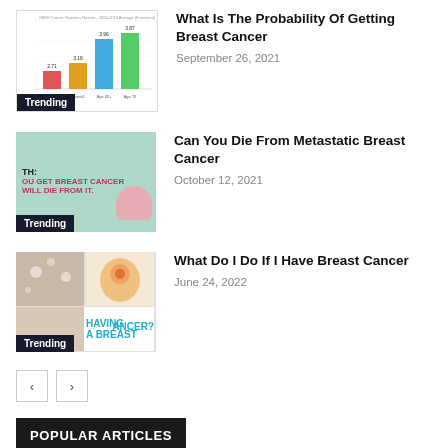[Figure (illustration): Bar chart thumbnail showing breast cancer probability statistics with colored bars, labeled Trending]
What Is The Probability Of Getting Breast Cancer
September 26, 2021
[Figure (illustration): Green background thumbnail with text about breast cancer myth, labeled Trending]
Can You Die From Metastatic Breast Cancer
October 12, 2021
[Figure (illustration): Collage thumbnail with breast cancer imagery and text HAVING A BREAST CANCER, labeled Trending]
What Do I Do If I Have Breast Cancer
June 24, 2022
POPULAR ARTICLES
What Age Should You Get Checked For